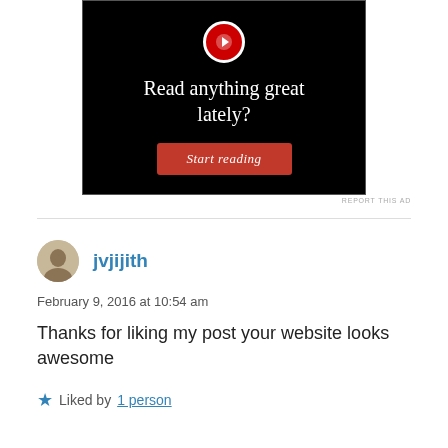[Figure (screenshot): Advertisement banner on black background with 'Read anything great lately?' text and a red 'Start reading' button]
REPORT THIS AD
jvjijith
February 9, 2016 at 10:54 am
Thanks for liking my post your website looks awesome
★ Liked by 1 person